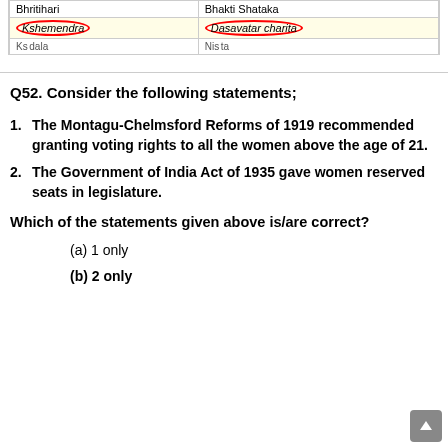| Author | Work |
| --- | --- |
| Bhritihari | Bhakti Shataka |
| Kshemendra | Dasavatar charita |
| Ks...dala | Nis...ta... |
Q52. Consider the following statements;
1. The Montagu-Chelmsford Reforms of 1919 recommended granting voting rights to all the women above the age of 21.
2. The Government of India Act of 1935 gave women reserved seats in legislature.
Which of the statements given above is/are correct?
(a) 1 only
(b) 2 only